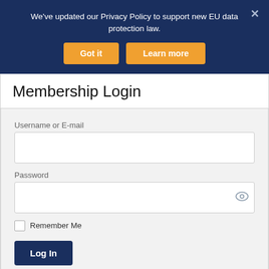We've updated our Privacy Policy to support new EU data protection law.
Got it | Learn more
Membership Login
Username or E-mail
Password
Remember Me
Log In
Forgot Password